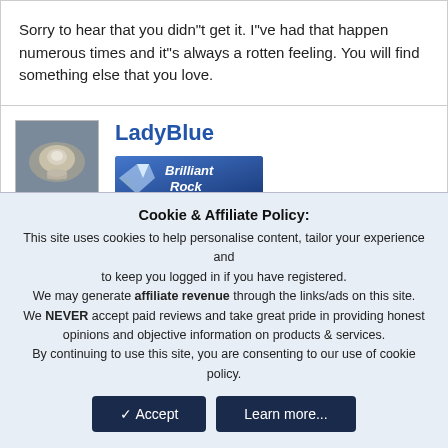Sorry to hear that you didn"t get it. I"ve had that happen numerous times and it"s always a rotten feeling. You will find something else that you love.
LadyBlue
[Figure (logo): Brilliant Rock badge/logo in blue]
Apr 22, 2009
#11
I"m sorry, on this times it"s so hard to find good jobs. I hope
Cookie & Affiliate Policy: This site uses cookies to help personalise content, tailor your experience and to keep you logged in if you have registered. We may generate affiliate revenue through the links/ads on this site. We NEVER accept paid reviews and take great pride in providing honest opinions and objective information on products & services. By continuing to use this site, you are consenting to our use of cookie policy.